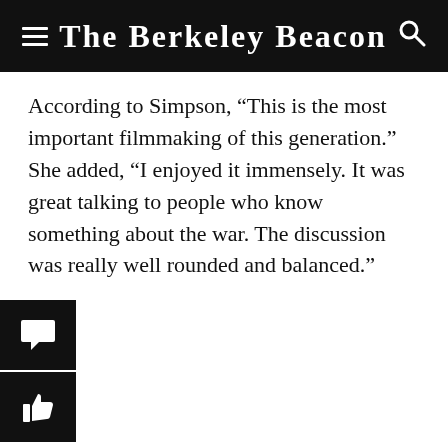The Berkeley Beacon
According to Simpson, “This is the most important filmmaking of this generation.” She added, “I enjoyed it immensely. It was great talking to people who know something about the war. The discussion was really well rounded and balanced.”